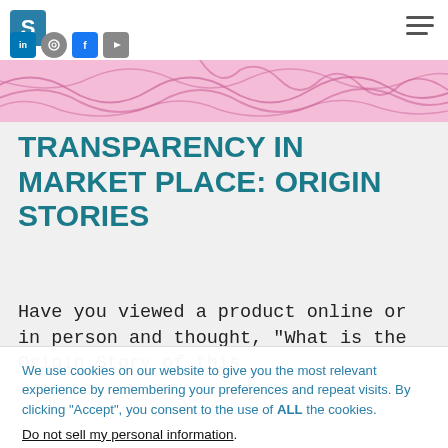S [logo] LinkedIn Instagram Facebook YouTube [hamburger menu]
[Figure (illustration): Pink decorative banner with organic curving line pattern in darker pink/mauve on a light pink background]
TRANSPARENCY IN MARKET PLACE: ORIGIN STORIES
Have you viewed a product online or in person and thought, "What is the Origin Story of this
We use cookies on our website to give you the most relevant experience by remembering your preferences and repeat visits. By clicking "Accept", you consent to the use of ALL the cookies.
Do not sell my personal information.